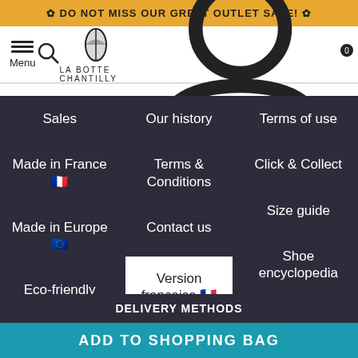✿ DO NOT MISS OUR GREAT OUTLET SALE! ✿
[Figure (screenshot): Navigation bar with hamburger menu, search icon, La Botte Chantilly logo, user icon, and shopping bag icon with 0 badge]
Sales
Our history
Terms of use
Made in France 🇫🇷
Terms & Conditions
Click & Collect
Size guide
Made in Europe 🇪🇺
Contact us
Shoe encyclopedia
Eco-friendly
Version française 🇫🇷
Lookbook
DELIVERY METHODS
ADD TO SHOPPING BAG